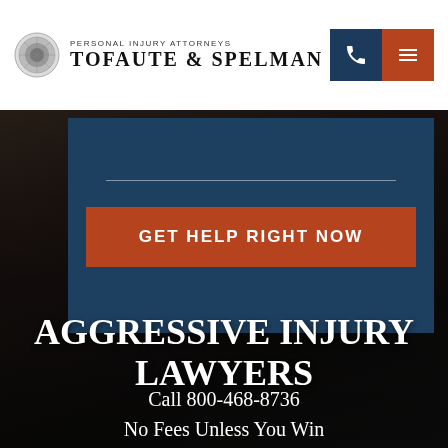[Figure (logo): Tofaute & Spelman Personal Injury Attorneys logo with circular emblem]
PERSONAL INJURY ATTORNEYS TOFAUTE & SPELMAN
[Figure (screenshot): Dark blue panel with horizontal rule and orange CTA button reading GET HELP RIGHT NOW, overlaid on dark hero section]
AGGRESSIVE INJURY LAWYERS
Call 800-468-8736
No Fees Unless You Win